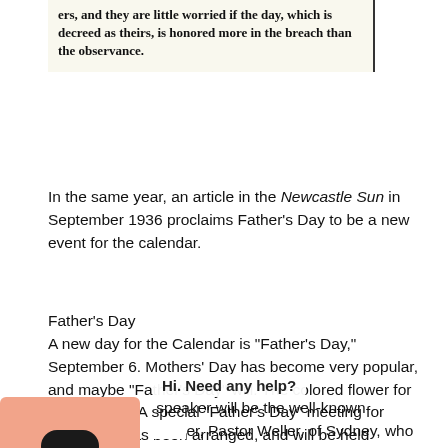ers, and they are little worried if the day, which is decreed as theirs, is honored more in the breach than the observance.
In the same year, an article in the Newcastle Sun in September 1936 proclaims Father's Day to be a new event for the calendar.
Father's Day
A new day for the Calendar is "Father's Day," September 6. Mothers' Day has become very popular, and maybe "Father's Day" will. The colored flower for father is red. A special "Father's Day" meeting for Newcastle has been arranged, and will be held Sunday, September 6. in the Newcastle Baptist Tabernacle at [Hi. Need any help?] speaker will be the well-known er, Pastor Weller, of Sydney, who will speak on THE FOUR-SQUARE MAN... The meeting will n to men of all denominations, and all fathers uested to invite their sons. The Tabernacle is not n the Newcastle Town Hall.